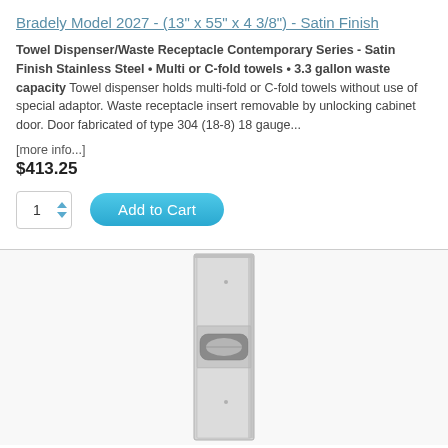Bradely Model 2027 - (13" x 55" x 4 3/8") - Satin Finish
Towel Dispenser/Waste Receptacle Contemporary Series - Satin Finish Stainless Steel • Multi or C-fold towels • 3.3 gallon waste capacity Towel dispenser holds multi-fold or C-fold towels without use of special adaptor. Waste receptacle insert removable by unlocking cabinet door. Door fabricated of type 304 (18-8) 18 gauge...
[more info...]
$413.25
[Figure (photo): Stainless steel towel dispenser and waste receptacle unit, tall and narrow, satin finish, shown standing upright with towel dispenser slot visible in the middle and cabinet sections above and below.]